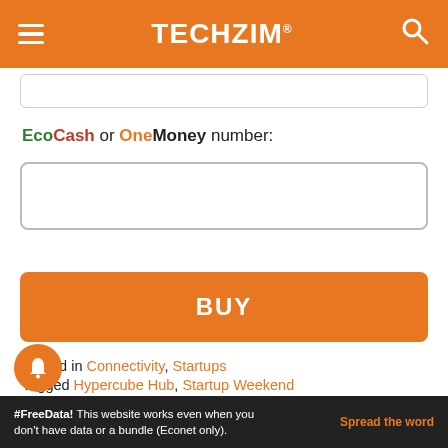TECHZiM
EcoCash or OneMoney number:
BUY
Posted in Connectivity, Startups
Tagged Hypercube Hub, Startup Weekend
Previous: Traction Engine sets out to solve problems in the African advertising market
Next: Curtain falls on Startup Weekend
#FreeData! This website works even when you don't have data or a bundle (Econet only). Spread the word